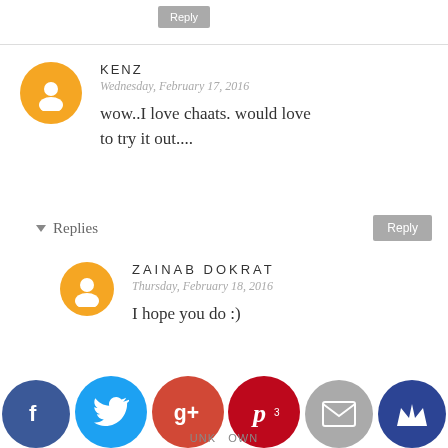Reply
KENZ
Wednesday, February 17, 2016
wow..I love chaats. would love to try it out....
Reply
▾ Replies
ZAINAB DOKRAT
Thursday, February 18, 2016
I hope you do :)
Reply
UNKNOWN